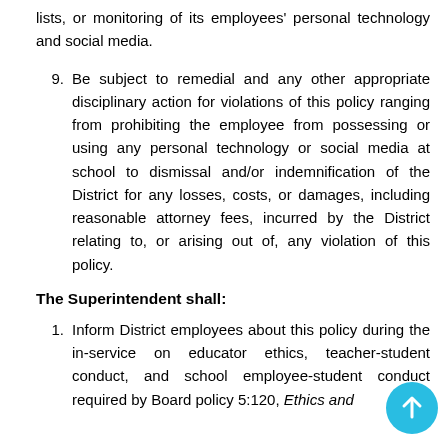lists, or monitoring of its employees' personal technology and social media.
9. Be subject to remedial and any other appropriate disciplinary action for violations of this policy ranging from prohibiting the employee from possessing or using any personal technology or social media at school to dismissal and/or indemnification of the District for any losses, costs, or damages, including reasonable attorney fees, incurred by the District relating to, or arising out of, any violation of this policy.
The Superintendent shall:
1. Inform District employees about this policy during the in-service on educator ethics, teacher-student conduct, and school employee-student conduct required by Board policy 5:120, Ethics and